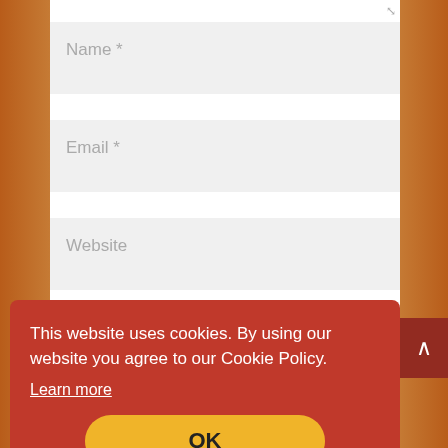[Figure (screenshot): Web page screenshot showing a comment form with Name, Email, and Website input fields, a Submit Comment button, a cookie consent banner, and a Search bar at the bottom.]
Name *
Email *
Website
Submit Comment
This website uses cookies. By using our website you agree to our Cookie Policy.
Learn more
OK
Search